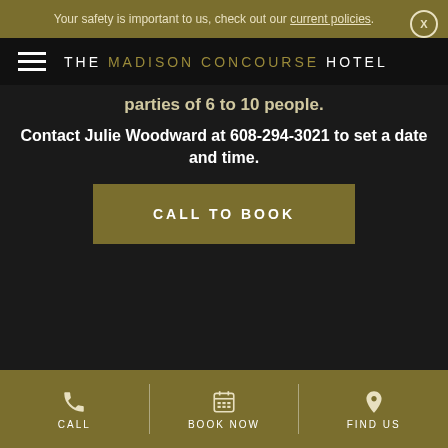Your safety is important to us, check out our current policies.
THE MADISON CONCOURSE HOTEL
parties of 6 to 10 people.
Contact Julie Woodward at 608-294-3021 to set a date and time.
CALL TO BOOK
CALL  BOOK NOW  FIND US